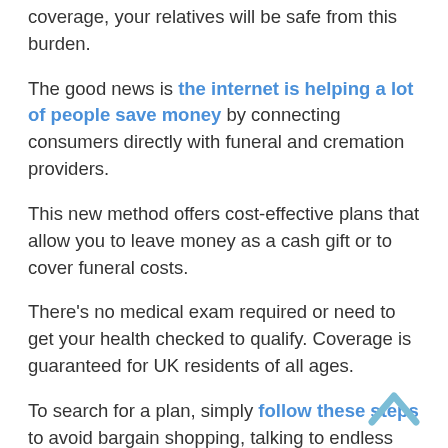coverage, your relatives will be safe from this burden.
The good news is the internet is helping a lot of people save money by connecting consumers directly with funeral and cremation providers.
This new method offers cost-effective plans that allow you to leave money as a cash gift or to cover funeral costs.
There's no medical exam required or need to get your health checked to qualify. Coverage is guaranteed for UK residents of all ages.
To search for a plan, simply follow these steps to avoid bargain shopping, talking to endless insurance reps that are trying to sweet talk you into the coverage you don't need, or wasting money:
Step 1) Select your age